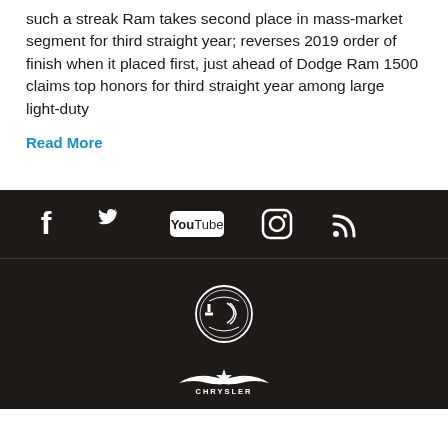such a streak Ram takes second place in mass-market segment for third straight year; reverses 2019 order of finish when it placed first, just ahead of Dodge Ram 1500 claims top honors for third straight year among large light-duty
Read More
[Figure (infographic): Social media icons row on dark background: Facebook, Twitter, YouTube, Instagram, RSS feed]
[Figure (logo): Alfa Romeo circular logo on dark background]
[Figure (logo): Chrysler wings logo with CHRYSLER text on dark background]